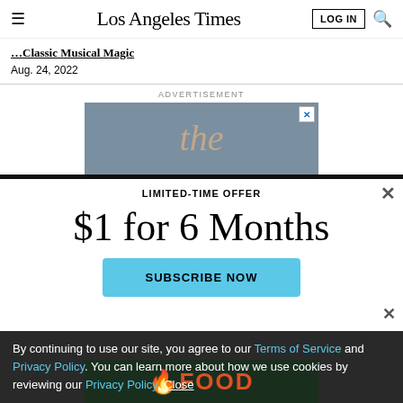Los Angeles Times
...Classic Musical Magic
Aug. 24, 2022
ADVERTISEMENT
[Figure (illustration): Advertisement banner with cursive script text 'the' on grey background]
LIMITED-TIME OFFER
$1 for 6 Months
SUBSCRIBE NOW
By continuing to use our site, you agree to our Terms of Service and Privacy Policy. You can learn more about how we use cookies by reviewing our Privacy Policy. Close